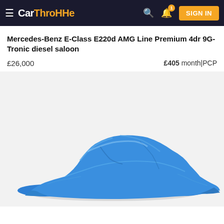CarThrottle — SIGN IN
Mercedes-Benz E-Class E220d AMG Line Premium 4dr 9G-Tronic diesel saloon
£26,000   £405 month|PCP
[Figure (photo): A car covered with a blue satin/silk cover/drape on a white background, obscuring the vehicle's details.]